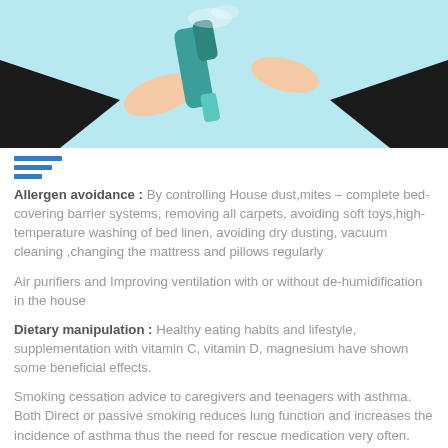[Figure (illustration): Illustration of hands holding an inhaler against a light blue background with dark silhouettes]
Allergen avoidance : By controlling House dust,mites – complete bed-covering barrier systems, removing all carpets, avoiding soft toys,high-temperature washing of bed linen, avoiding dry dusting, vacuum cleaning ,changing the mattress and pillows regularly
Air purifiers and Improving ventilation with or without de-humidification in the house
Dietary manipulation : Healthy eating habits and lifestyle, supplementation with vitamin C, vitamin D, magnesium have shown some beneficial effects.
Smoking cessation advice to caregivers and teenagers with asthma. Both Direct or passive smoking reduces lung function and increases the incidence of asthma thus the need for rescue medication very often.